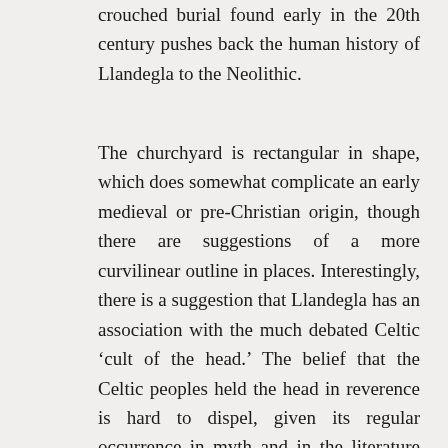crouched burial found early in the 20th century pushes back the human history of Llandegla to the Neolithic.
The churchyard is rectangular in shape, which does somewhat complicate an early medieval or pre-Christian origin, though there are suggestions of a more curvilinear outline in places. Interestingly, there is a suggestion that Llandegla has an association with the much debated Celtic ‘cult of the head.’ The belief that the Celtic peoples held the head in reverence is hard to dispel, given its regular occurrence in myth and in the literature that survives. Certainly, its dismissal as a favourite decorative motif smacks of wishful thinking. Until recently, a farmhouse in Llandegla displayed six carved stone heads of